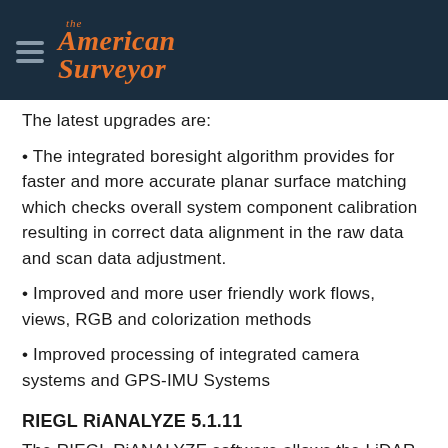The American Surveyor
The latest upgrades are:
The integrated boresight algorithm provides for faster and more accurate planar surface matching which checks overall system component calibration resulting in correct data alignment in the raw data and scan data adjustment.
Improved and more user friendly work flows, views, RGB and colorization methods
Improved processing of integrated camera systems and GPS-IMU Systems
RIEGL RiANALYZE 5.1.11
The RIEGL RiANALYZE software allows the LiDAR